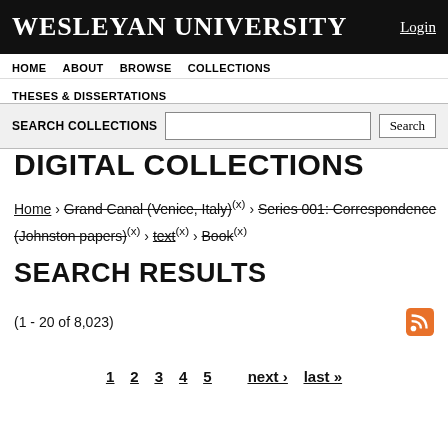Wesleyan University   Login
HOME   ABOUT   BROWSE   COLLECTIONS
THESES & DISSERTATIONS
SEARCH COLLECTIONS   [search box]   Search
DIGITAL COLLECTIONS
Home › Grand Canal (Venice, Italy)(x) › Series 001: Correspondence (Johnston papers)(x) › text(x) › Book(x)
SEARCH RESULTS
(1 - 20 of 8,023)
1   2   3   4   5   next ›   last »